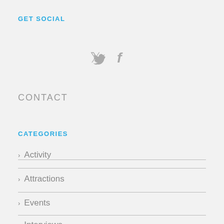GET SOCIAL
[Figure (illustration): Twitter and Facebook social media icons in gray]
CONTACT
CATEGORIES
Activity
Attractions
Events
Interviews